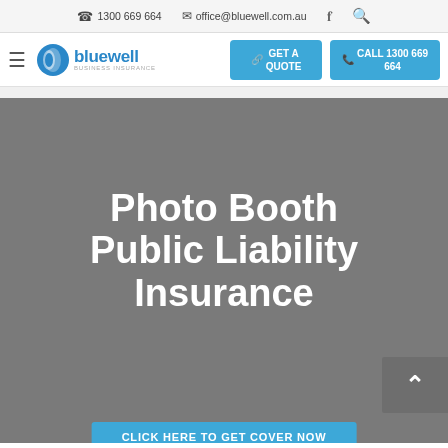☎ 1300 669 664   ✉ office@bluewell.com.au   f   🔍
[Figure (logo): Bluewell Business Insurance logo with blue circular icon and text 'bluewell BUSINESS INSURANCE']
GET A QUOTE
CALL 1300 669 664
Photo Booth Public Liability Insurance
CLICK HERE TO GET COVER NOW